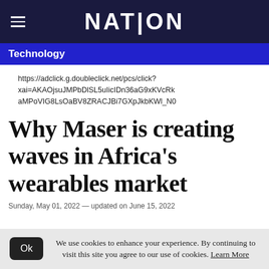NATION
Technology
https://adclick.g.doubleclick.net/pcs/click?xai=AKAOjsuJMPbDlSL5uIicIDn36aG9xKVcRkaMPoVIG8LsOaBV8ZRACJBi7GXpJkbKWl_N0
Why Maser is creating waves in Africa's wearables market
Sunday, May 01, 2022 — updated on June 15, 2022
We use cookies to enhance your experience. By continuing to visit this site you agree to our use of cookies. Learn More